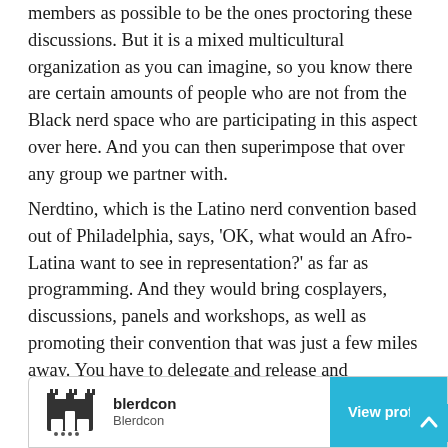members as possible to be the ones proctoring these discussions. But it is a mixed multicultural organization as you can imagine, so you know there are certain amounts of people who are not from the Black nerd space who are participating in this aspect over here. And you can then superimpose that over any group we partner with.
Nerdtino, which is the Latino nerd convention based out of Philadelphia, says, 'OK, what would an Afro-Latina want to see in representation?' as far as programming. And they would bring cosplayers, discussions, panels and workshops, as well as promoting their convention that was just a few miles away. You have to delegate and release and relinquish a certain amount of control in order to reach beyond your grasp as a con programmer.
[Figure (other): Blerdcon social media profile card with logo, name 'blerdcon', subtitle 'Blerdcon', and a 'View profile' button in cyan/light blue]